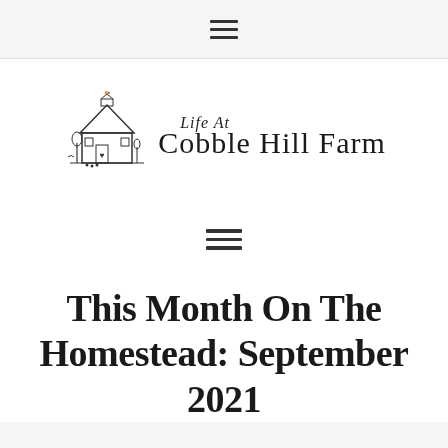hamburger menu icon
[Figure (logo): Life At Cobble Hill Farm logo with barn illustration and cursive/serif text]
[Figure (other): hamburger menu icon (three horizontal lines)]
This Month On The Homestead: September 2021